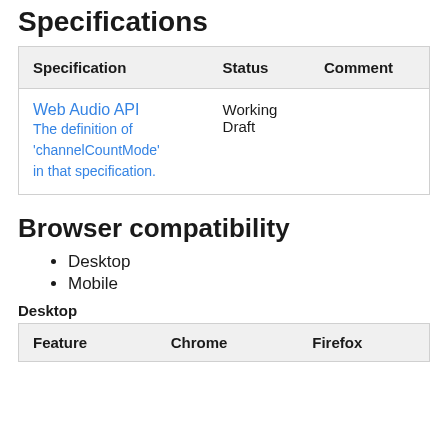Specifications
| Specification | Status | Comment |
| --- | --- | --- |
| Web Audio API
The definition of 'channelCountMode' in that specification. | Working Draft |  |
Browser compatibility
Desktop
Mobile
Desktop
| Feature | Chrome | Firefox |
| --- | --- | --- |